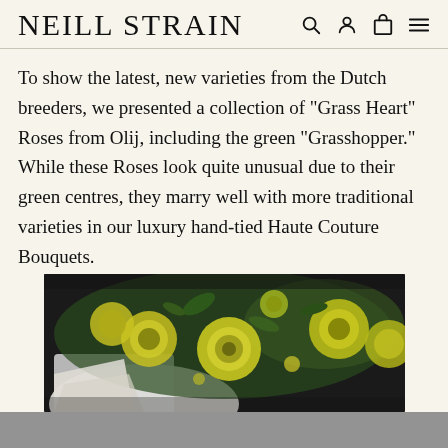NEILL STRAIN
To show the latest, new varieties from the Dutch breeders, we presented a collection of "Grass Heart" Roses from Olij, including the green "Grasshopper." While these Roses look quite unusual due to their green centres, they marry well with more traditional varieties in our luxury hand-tied Haute Couture Bouquets.
[Figure (photo): Close-up photograph of a luxury hand-tied bouquet featuring yellow-green Grass Heart roses and other yellow blooms with green foliage, wrapped in white paper.]